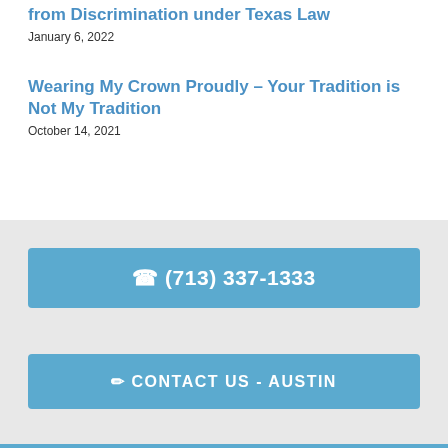from Discrimination under Texas Law
January 6, 2022
Wearing My Crown Proudly – Your Tradition is Not My Tradition
October 14, 2021
☎ (713) 337-1333
🖊 CONTACT US - AUSTIN